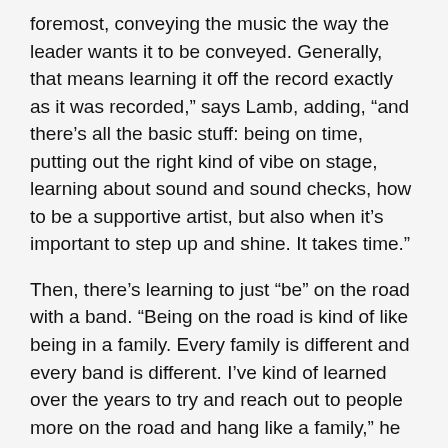foremost, conveying the music the way the leader wants it to be conveyed. Generally, that means learning it off the record exactly as it was recorded,” says Lamb, adding, “and there’s all the basic stuff: being on time, putting out the right kind of vibe on stage, learning about sound and sound checks, how to be a supportive artist, but also when it’s important to step up and shine. It takes time.”
Then, there’s learning to just “be” on the road with a band. “Being on the road is kind of like being in a family. Every family is different and every band is different. I’ve kind of learned over the years to try and reach out to people more on the road and hang like a family,” he says.
The modern music industry has obviously afforded Lamb a certain independence that wouldn’t have been possible 20 years ago. Aside from performing, he is a music industry entrepreneur with his own production company